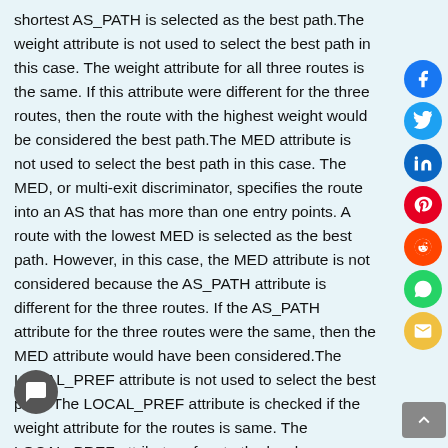shortest AS_PATH is selected as the best path.The weight attribute is not used to select the best path in this case. The weight attribute for all three routes is the same. If this attribute were different for the three routes, then the route with the highest weight would be considered the best path.The MED attribute is not used to select the best path in this case. The MED, or multi-exit discriminator, specifies the route into an AS that has more than one entry points. A route with the lowest MED is selected as the best path. However, in this case, the MED attribute is not considered because the AS_PATH attribute is different for the three routes. If the AS_PATH attribute for the three routes were the same, then the MED attribute would have been considered.The LOCAL_PREF attribute is not used to select the best path. The LOCAL_PREF attribute is checked if the weight attribute for the routes is same. The LOCAL_PREF attribute refers to the local preference, which specifies the route that has preference to exit the AS for a given destination network. The route with the highest LOCAL_PREF value is selected as the